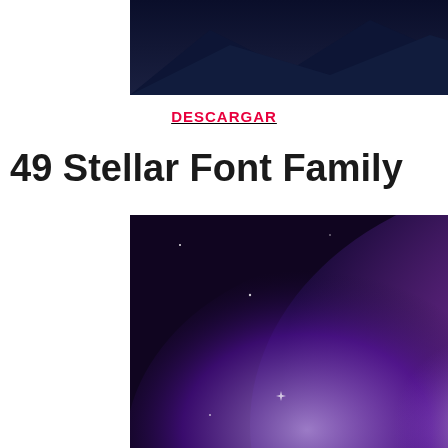[Figure (illustration): Dark blue/navy mountain silhouette landscape banner image at the top of the page]
DESCARGAR
49 Stellar Font Family
[Figure (illustration): Galaxy/nebula image with purple, pink, blue cosmic clouds and the text 'STELLAR' in large spaced white letters, with subtitle 'FREE TYPEFACE WITH 4 WEIGHTS']